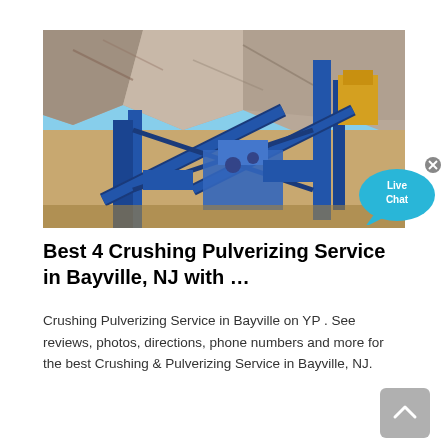[Figure (photo): Industrial crushing and pulverizing equipment at a quarry site with blue steel structures, conveyor belts, and rocky cliff face in background]
Best 4 Crushing Pulverizing Service in Bayville, NJ with …
Crushing Pulverizing Service in Bayville on YP . See reviews, photos, directions, phone numbers and more for the best Crushing & Pulverizing Service in Bayville, NJ.